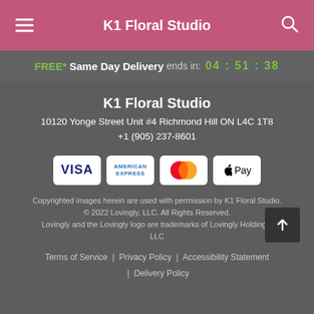K1 Floral Studio
FREE* Same Day Delivery ends in: 04:51:38
K1 Floral Studio
10120 Yonge Street Unit #4 Richmond Hill ON L4C 1T8
+1 (905) 237-8601
[Figure (other): Payment method icons: Visa, American Express, Mastercard, Apple Pay]
Copyrighted images herein are used with permission by K1 Floral Studio.
© 2022 Lovingly, LLC. All Rights Reserved.
Lovingly and the Lovingly logo are trademarks of Lovingly Holdings, LLC
Terms of Service | Privacy Policy | Accessibility Statement | Delivery Policy